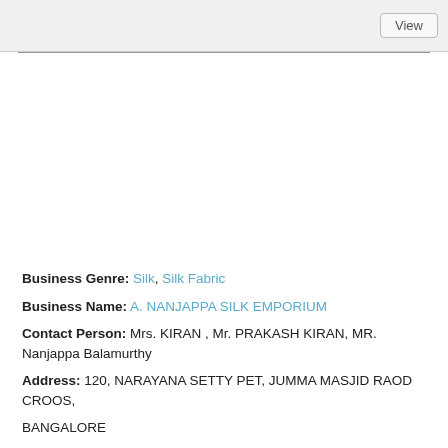View
Business Genre: Silk, Silk Fabric
Business Name: A. NANJAPPA SILK EMPORIUM
Contact Person: Mrs. KIRAN , Mr. PRAKASH KIRAN, MR. Nanjappa Balamurthy
Address: 120, NARAYANA SETTY PET, JUMMA MASJID RAOD CROOS,
BANGALORE
PIN/ZIP: 560002
Phone/Mobile Number: 91893221551€/22216831